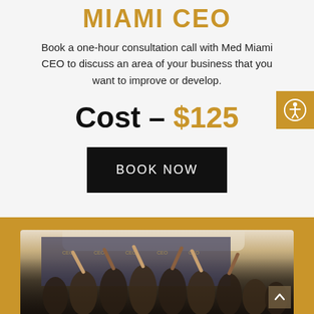MIAMI CEO
Book a one-hour consultation call with Med Miami CEO to discuss an area of your business that you want to improve or develop.
Cost – $125
BOOK NOW
[Figure (photo): Group photo of people celebrating with hands raised, taken in front of a branded backdrop, set against a gold/tan background section]